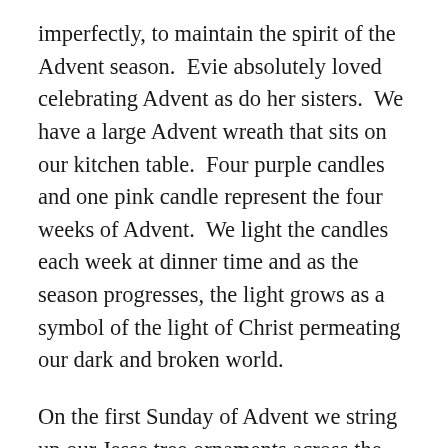imperfectly, to maintain the spirit of the Advent season.  Evie absolutely loved celebrating Advent as do her sisters.  We have a large Advent wreath that sits on our kitchen table.  Four purple candles and one pink candle represent the four weeks of Advent.  We light the candles each week at dinner time and as the season progresses, the light grows as a symbol of the light of Christ permeating our dark and broken world.
On the first Sunday of Advent we string up our Jesse tree ornaments across the mantle.  Each ornament represents a story from redemptive history beginning with Creation and ending with the birth of Jesus.  We read a different Scripture passage each day and the children take turns placing the ornament on our mantle. I see to